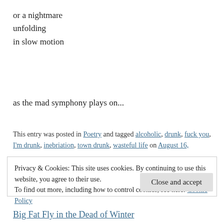or a nightmare
unfolding
in slow motion
as the mad symphony plays on...
This entry was posted in Poetry and tagged alcoholic, drunk, fuck you, I'm drunk, inebriation, town drunk, wasteful life on August 16,
Privacy & Cookies: This site uses cookies. By continuing to use this website, you agree to their use.
To find out more, including how to control cookies, see here: Cookie Policy
Close and accept
Big Fat Fly in the Dead of Winter